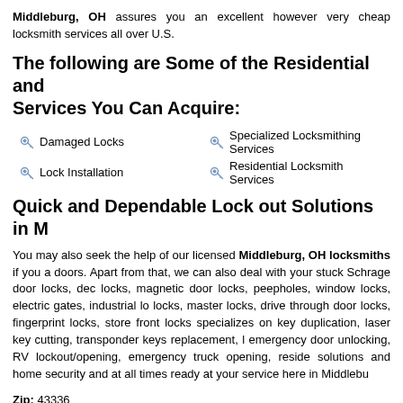Middleburg, OH assures you an excellent however very cheap locksmith services all over U.S.
The following are Some of the Residential and Services You Can Acquire:
Damaged Locks
Specialized Locksmithing Services
Lock Installation
Residential Locksmith Services
Quick and Dependable Lock out Solutions in M
You may also seek the help of our licensed Middleburg, OH locksmiths if you a doors. Apart from that, we can also deal with your stuck Schrage door locks, dec locks, magnetic door locks, peepholes, window locks, electric gates, industrial lo locks, master locks, drive through door locks, fingerprint locks, store front locks specializes on key duplication, laser key cutting, transponder keys replacement, l emergency door unlocking, RV lockout/opening, emergency truck opening, reside solutions and home security and at all times ready at your service here in Middlebu
Zip: 43336
Area Code: 937
State: Ohio